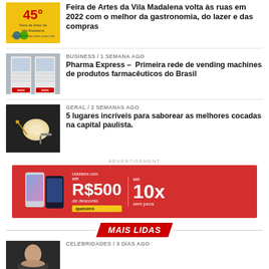[Figure (photo): Yellow promotional poster thumbnail for Feira de Artes with '45°' mark]
Feira de Artes da Vila Madalena volta às ruas em 2022 com o melhor da gastronomia, do lazer e das compras
[Figure (photo): Photo of pharmaceutical vending machines (Pharma Express)]
BUSINESS / 1 semana ago
Pharma Express – Primeira rede de vending machines de produtos farmacêuticos do Brasil
[Figure (photo): Photo of a coconut dessert (cocada) on a dark plate]
GERAL / 2 semanas ago
5 lugares incríveis para saborear as melhores cocadas na capital paulista.
ADVERTISEMENT
[Figure (infographic): Red advertisement banner: celulares com até R$500 de desconto, até 10x sem juros, quecero brand]
MAIS LIDAS
CELEBRIDADES / 3 dias ago